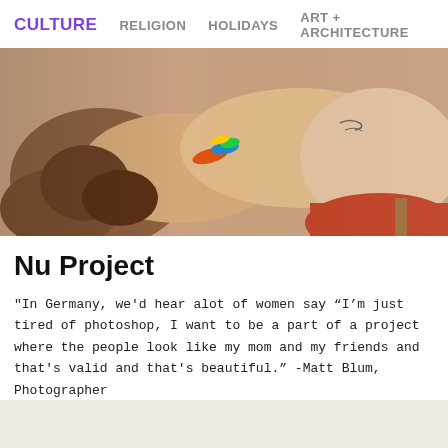CULTURE   RELIGION   HOLIDAYS   ART + ARCHITECTURE
[Figure (photo): Close-up photo of a person's arms and hands resting on knees, wearing colorful bracelets and a tattoo visible on the forearm, seated on a reddish-orange cushioned chair.]
Nu Project
"In Germany, we'd hear alot of women say “I’m just tired of photoshop, I want to be a part of a project where the people look like my mom and my friends and that's valid and that's beautiful.” -Matt Blum, Photographer